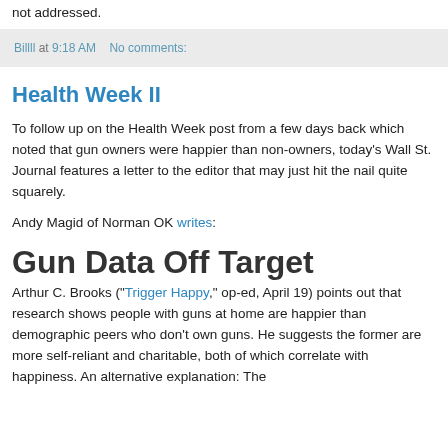not addressed.
Billll at 9:18 AM   No comments:
Health Week II
To follow up on the Health Week post from a few days back which noted that gun owners were happier than non-owners, today's Wall St. Journal features a letter to the editor that may just hit the nail quite squarely.
Andy Magid of Norman OK writes:
Gun Data Off Target
Arthur C. Brooks ("Trigger Happy," op-ed, April 19) points out that research shows people with guns at home are happier than demographic peers who don't own guns. He suggests the former are more self-reliant and charitable, both of which correlate with happiness. An alternative explanation: The